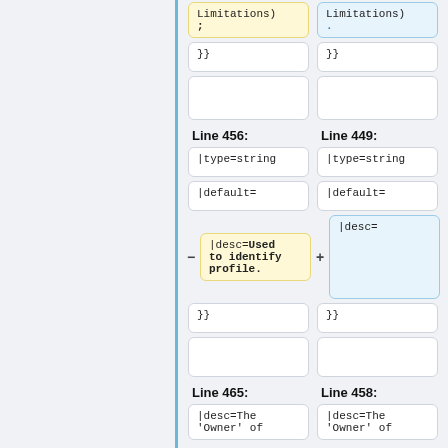[Figure (screenshot): Code diff viewer showing two columns of code blocks. Left column shows Line 456 and Line 465 (deletions in yellow). Right column shows Line 449 and Line 458 (additions in blue). Contains code snippets with |type=string, |default=, |desc= fields, and }} closing braces.]